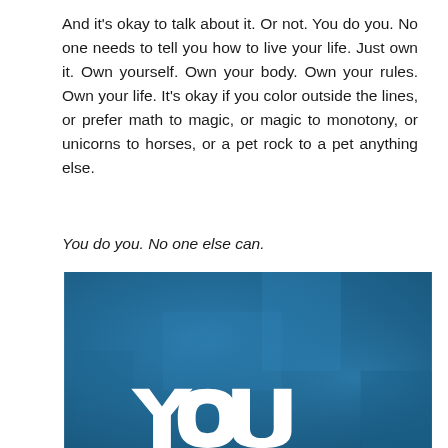And it's okay to talk about it. Or not. You do you. No one needs to tell you how to live your life. Just own it. Own yourself. Own your body. Own your rules. Own your life. It's okay if you color outside the lines, or prefer math to magic, or magic to monotony, or unicorns to horses, or a pet rock to a pet anything else.
You do you. No one else can.
[Figure (photo): Blue background image with large white hand-lettered text reading 'YOU' visible at the bottom of the image, partially cropped.]